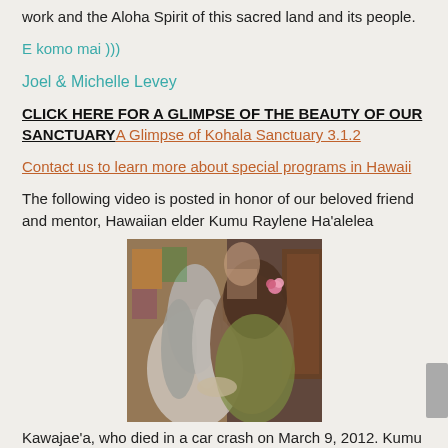work and the Aloha Spirit of this sacred land and its people.
E komo mai )))
Joel & Michelle Levey
CLICK HERE FOR A GLIMPSE OF THE BEAUTY OF OUR SANCTUARY A Glimpse of Kohala Sanctuary 3.1.2
Contact us to learn more about special programs in Hawaii
The following video is posted in honor of our beloved friend and mentor, Hawaiian elder Kumu Raylene Ha'alelea
[Figure (photo): Two people sharing a close embrace or greeting, one with long grey hair, one with a pink flower in dark hair, in an indoor setting with colorful background]
Kawajae'a, who died in a car crash on March 9, 2012. Kumu